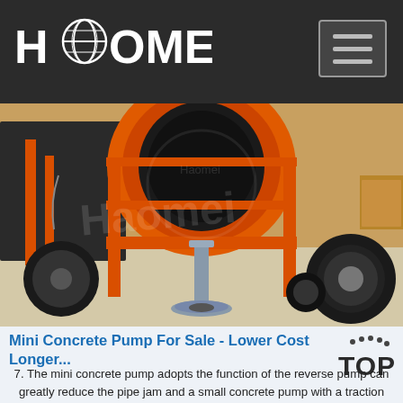[Figure (logo): HAOMEI company logo in white on dark background with globe icon]
[Figure (photo): Orange mini concrete pump machine with large drum, wheels, and a vertical pipe/outlet extending to the ground on a concrete floor]
Mini Concrete Pump For Sale - Lower Cost Longer...
7. The mini concrete pump adopts the function of the reverse pump can greatly reduce the pipe jam and a small concrete pump with a traction wheel easy to move can be placed in the